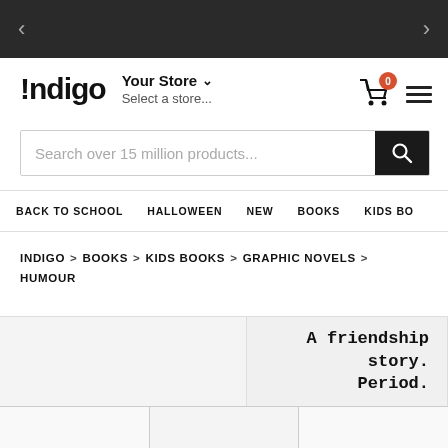[Figure (screenshot): Top dark navigation bar with left arrow and right arrow]
[Figure (logo): Indigo bookstore logo — exclamation mark followed by 'indigo' in bold]
Your Store ∨
Select a store...
Search over 15 million products...
BACK TO SCHOOL   HALLOWEEN   NEW   BOOKS   KIDS BO
INDIGO > BOOKS > KIDS BOOKS > GRAPHIC NOVELS > HUMOUR
A friendship story. Period.